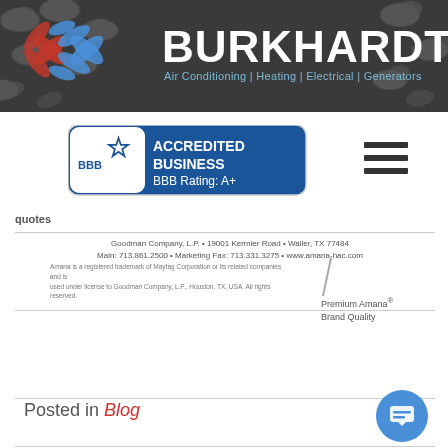[Figure (logo): Burkhardt Air Conditioning | Heating | Electrical | Generators company logo on dark grey banner with decorative oval pattern background. Red and blue stylized flame/leaf logo mark on left, white bold BURKHARDT text on right, teal tagline below.]
[Figure (logo): BBB Accredited Business badge with BBB Rating: A+]
[Figure (other): Hamburger menu icon (three horizontal lines)]
quotes
Goodman Company, L.P. • 19001 Kermier Road • Waller, TX 77484
Main: 713.861.2500 • Marketing Fax: 713.331.3275 • www.amana-hac.com
Amana is a registered trademark of Maytag Corporation or its related companies and is used under license to Goodman Company, L.P., Houston, TX, USA. All rights reserved.
Premium Amana® Brand Quality
Posted in Blog